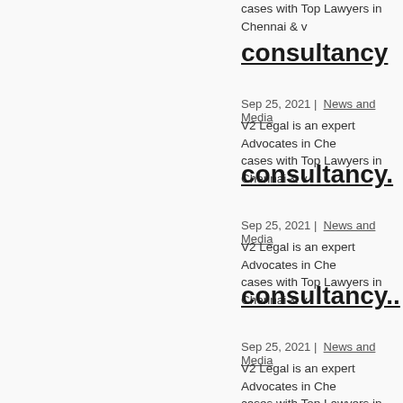cases with Top Lawyers in Chennai & v
consultancy
Sep 25, 2021 | News and Media
V2 Legal is an expert Advocates in Che... cases with Top Lawyers in Chennai & v
consultancy.
Sep 25, 2021 | News and Media
V2 Legal is an expert Advocates in Che... cases with Top Lawyers in Chennai & v
consultancy..
Sep 25, 2021 | News and Media
V2 Legal is an expert Advocates in Che... cases with Top Lawyers in Chennai & v
consultancy...
Sep 25, 2021 | News and Media
V2 Legal is an expert Advocates in Che... cases with Top Lawyers in Chennai & v
consultancies
Sep 25, 2021 | News and Media
V2 Legal is an expert Advocates in Che... cases with Top Lawyers in Chennai & v